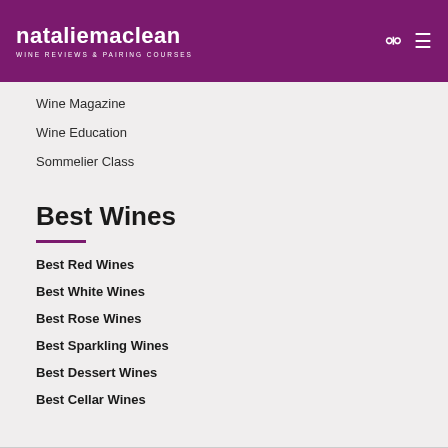nataliemaclean WINE REVIEWS & PAIRING COURSES
Wine Magazine
Wine Education
Sommelier Class
Best Wines
Best Red Wines
Best White Wines
Best Rose Wines
Best Sparkling Wines
Best Dessert Wines
Best Cellar Wines